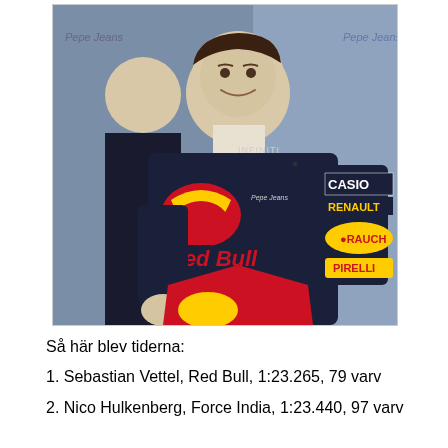[Figure (photo): A Formula 1 driver wearing a Red Bull Racing suit with CASIO, RENAULT, RAUCH, PIRELLI, and Infiniti sponsor logos, smiling. Another person is partially visible behind him. Background shows sponsor banners.]
Så här blev tiderna:
1. Sebastian Vettel, Red Bull, 1:23.265, 79 varv
2. Nico Hulkenberg, Force India, 1:23.440, 97 varv